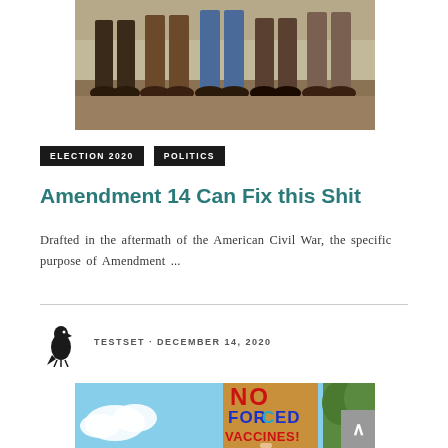[Figure (photo): Historical illustration showing legs/feet of people standing, likely a Civil War era engraving]
ELECTION 2020
POLITICS
Amendment 14 Can Fix this Shit
Drafted in the aftermath of the American Civil War, the specific purpose of Amendment ...
TESTSET · DECEMBER 14, 2020
[Figure (photo): Protest photo showing a person holding a cardboard sign reading NO FORCED VACCINES! against a blue sky with trees]